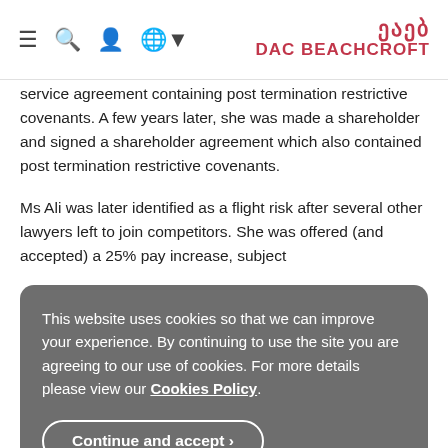DAC BEACHCROFT
service agreement containing post termination restrictive covenants. A few years later, she was made a shareholder and signed a shareholder agreement which also contained post termination restrictive covenants.
Ms Ali was later identified as a flight risk after several other lawyers left to join competitors. She was offered (and accepted) a 25% pay increase, subject
This website uses cookies so that we can improve your experience. By continuing to use the site you are agreeing to our use of cookies. For more details please view our Cookies Policy.
Continue and accept ›
termination of her employment. By contrast, the